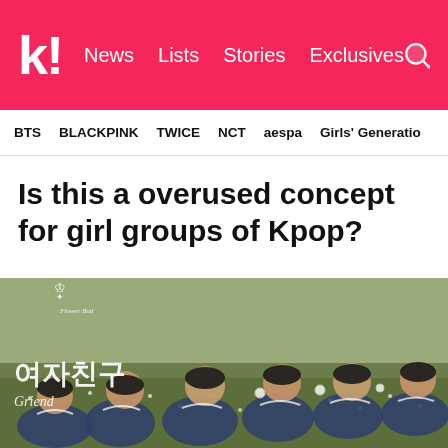k! News Lists Stories Exclusives
BTS BLACKPINK TWICE NCT aespa Girls' Generation
Is this a overused concept for girl groups of Kpop?
[Figure (photo): GFRIEND (여자친구) promo photo showing six young women in navy blue sailor-style school uniforms sitting on grass with small white flowers, with Korean text '여자친구' and script text 'Griend' overlaid on the image]